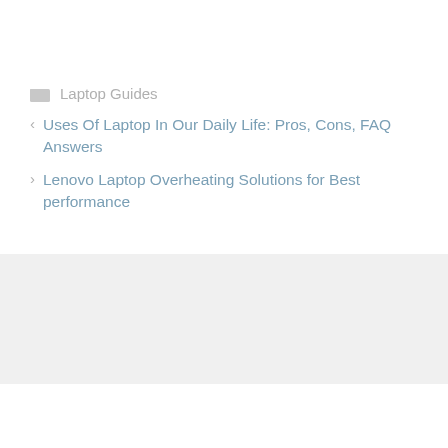Laptop Guides
Uses Of Laptop In Our Daily Life: Pros, Cons, FAQ Answers
Lenovo Laptop Overheating Solutions for Best performance